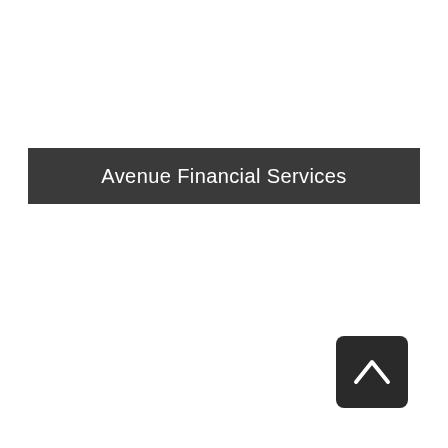Avenue Financial Services
[Figure (other): Back to top button — dark rounded square with a white upward-pointing chevron/arrow icon]